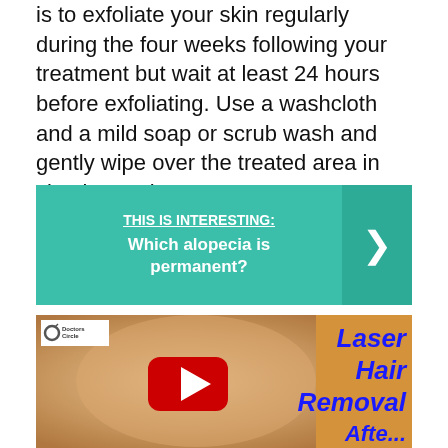is to exfoliate your skin regularly during the four weeks following your treatment but wait at least 24 hours before exfoliating. Use a washcloth and a mild soap or scrub wash and gently wipe over the treated area in circular motions.
[Figure (infographic): Teal/green banner callout with header 'THIS IS INTERESTING:' and text 'Which alopecia is permanent?' with a right-pointing chevron arrow on the right side]
[Figure (screenshot): YouTube video thumbnail showing a woman touching her face, with 'Laser Hair Removal' text overlay in blue cursive font and a YouTube play button in the center. Doctors Circle logo in top-left corner.]